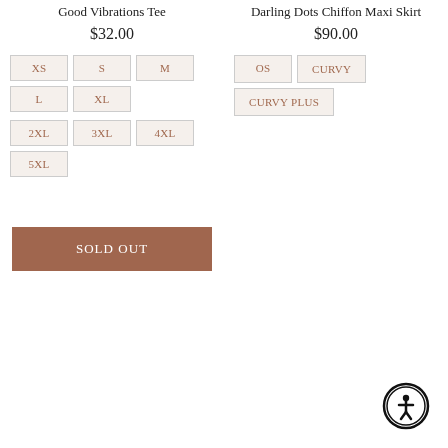Good Vibrations Tee
$32.00
XS
S
M
L
XL
2XL
3XL
4XL
5XL
SOLD OUT
Darling Dots Chiffon Maxi Skirt
$90.00
OS
CURVY
CURVY PLUS